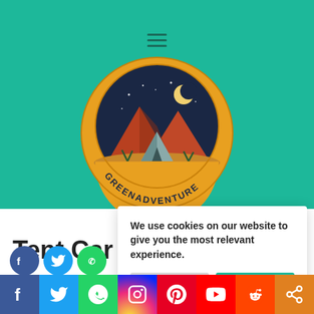[Figure (logo): GreenAdventure circular logo with camping tent, mountains, night sky with crescent moon, and text GREENADVENTURE around the bottom arc on a teal/green background]
We use cookies on our website to give you the most relevant experience.
Cookie Settings
Accept All
Tent Car
[Figure (infographic): Social media sharing bar with icons: Facebook, Twitter, WhatsApp, Instagram, Pinterest, YouTube, Reddit, Share]